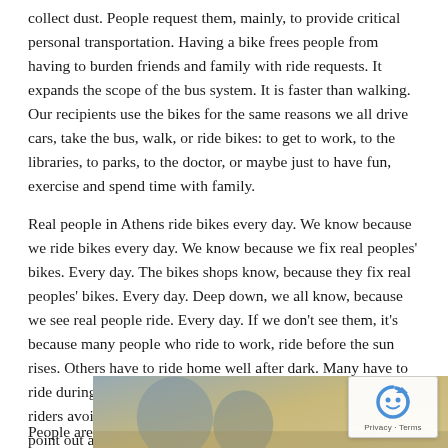collect dust. People request them, mainly, to provide critical personal transportation. Having a bike frees people from having to burden friends and family with ride requests. It expands the scope of the bus system. It is faster than walking. Our recipients use the bikes for the same reasons we all drive cars, take the bus, walk, or ride bikes: to get to work, to the libraries, to parks, to the doctor, or maybe just to have fun, exercise and spend time with family.
Real people in Athens ride bikes every day. We know because we ride bikes every day. We know because we fix real peoples' bikes. Every day. The bikes shops know, because they fix real peoples' bikes. Every day. Deep down, we all know, because we see real people ride. Every day. If we don't see them, it's because many people who ride to work, ride before the sun rises. Others have to ride home well after dark. Many have to ride during the heat of the day, on roads experienced bike riders avoid. We don't say this to lionize them. It's only to point out again that there is nothing spe... strange about people on bikes.
People are
[Figure (photo): Partial photo of people on bikes, partially obscured by reCAPTCHA overlay]